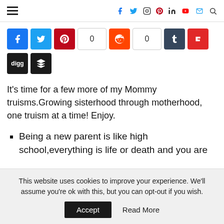Navigation bar with hamburger menu and social media icons (Facebook, Twitter, Instagram, Pinterest, LinkedIn, YouTube, Email, Search)
[Figure (infographic): Social share buttons row: Facebook (blue), Twitter (blue), Pinterest (red), count 0, Reddit (orange), count 0, Tumblr (dark blue), Flipboard (red), Digg (black), Buffer (black)]
It's time for a few more of my Mommy truisms.Growing sisterhood through motherhood, one truism at a time! Enjoy.
Being a new parent is like high school,everything is life or death and you are
This website uses cookies to improve your experience. We'll assume you're ok with this, but you can opt-out if you wish.